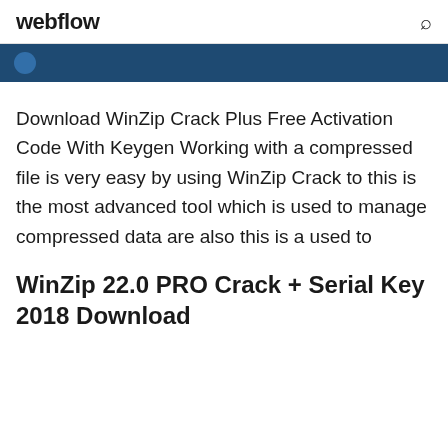webflow
Download WinZip Crack Plus Free Activation Code With Keygen Working with a compressed file is very easy by using WinZip Crack to this is the most advanced tool which is used to manage compressed data are also this is a used to
WinZip 22.0 PRO Crack + Serial Key 2018 Download